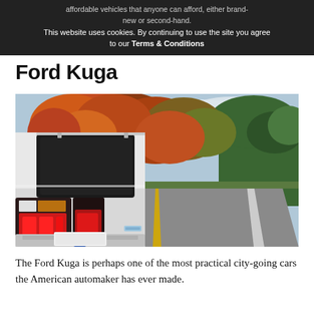This website uses cookies. By continuing to use the site you agree to our Terms & Conditions
Ford Kuga
[Figure (photo): Rear view of a white Ford Kuga SUV parked on a winding road surrounded by colorful autumn trees — red, orange, green foliage under a partly cloudy sky.]
The Ford Kuga is perhaps one of the most practical city-going cars the American automaker has ever made.